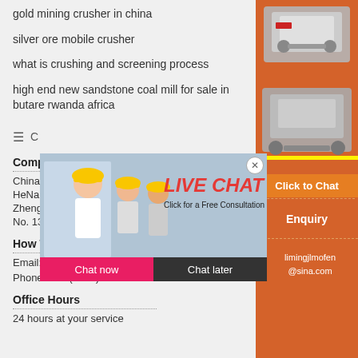gold mining crusher in china
silver ore mobile crusher
what is crushing and screening process
high end new sandstone coal mill for sale in butare rwanda africa
[Figure (screenshot): Live chat popup overlay with workers in hard hats, 'LIVE CHAT' heading in red, 'Click for a Free Consultation' subtext, Chat now and Chat later buttons]
[Figure (screenshot): Orange sidebar advertisement with mining equipment images, 'Enjoy 3% discount' yellow bar, 'Click to Chat' button, Enquiry section with email limingjlmofen@sina.com]
Company
China
HeNa
Zhengzhou
No. 139, High-tech Zone
How To Contact Us
Email: limingjlmofen@sina.com
Phone: +86 (0371)8654 9132
Office Hours
24 hours at your service